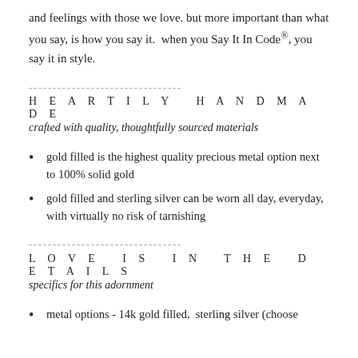and feelings with those we love. but more important than what you say, is how you say it.  when you Say It In Code®, you say it in style.
--------------------------------
H E A R T I L Y  H A N D M A D E
crafted with quality, thoughtfully sourced materials
gold filled is the highest quality precious metal option next to 100% solid gold
gold filled and sterling silver can be worn all day, everyday, with virtually no risk of tarnishing
--------------------------------
L O V E  I S  I N  T H E  D E T A I L S
specifics for this adornment
metal options - 14k gold filled,  sterling silver (choose